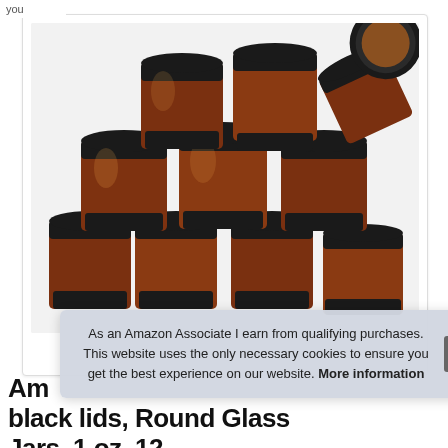you
[Figure (photo): Stack of amber glass jars with black lids arranged in a pyramid, photographed on white background]
As an Amazon Associate I earn from qualifying purchases. This website uses the only necessary cookies to ensure you get the best experience on our website. More information
Am black lids, Round Glass Jars, 1 oz, 12